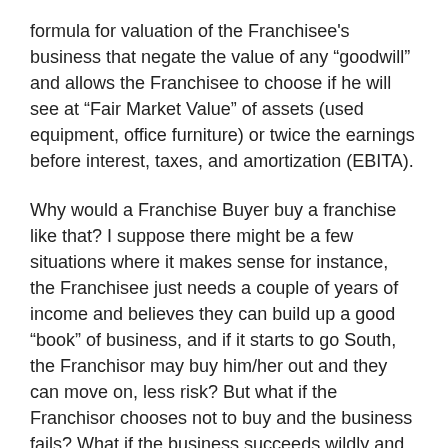formula for valuation of the Franchisee's business that negate the value of any “goodwill” and allows the Franchisee to choose if he will see at “Fair Market Value” of assets (used equipment, office furniture) or twice the earnings before interest, taxes, and amortization (EBITA).
Why would a Franchise Buyer buy a franchise like that? I suppose there might be a few situations where it makes sense for instance, the Franchisee just needs a couple of years of income and believes they can build up a good “book” of business, and if it starts to go South, the Franchisor may buy him/her out and they can move on, less risk? But what if the Franchisor chooses not to buy and the business fails? What if the business succeeds wildly and the Franchisee is forced to sell-out a thriving and growing business?
If you think about it, it is a brilliant strategy for a